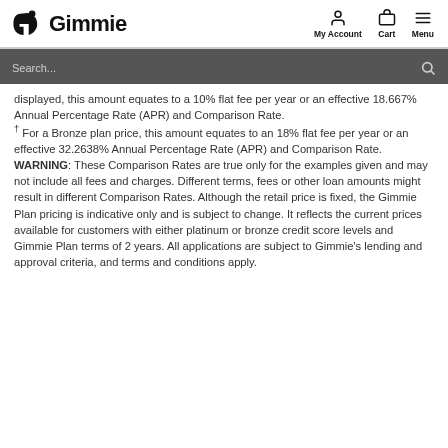Gimmie — My Account | Cart | Menu
displayed, this amount equates to a 10% flat fee per year or an effective 18.667% Annual Percentage Rate (APR) and Comparison Rate.
† For a Bronze plan price, this amount equates to an 18% flat fee per year or an effective 32.2638% Annual Percentage Rate (APR) and Comparison Rate.
WARNING: These Comparison Rates are true only for the examples given and may not include all fees and charges. Different terms, fees or other loan amounts might result in different Comparison Rates. Although the retail price is fixed, the Gimmie Plan pricing is indicative only and is subject to change. It reflects the current prices available for customers with either platinum or bronze credit score levels and Gimmie Plan terms of 2 years. All applications are subject to Gimmie's lending and approval criteria, and terms and conditions apply.